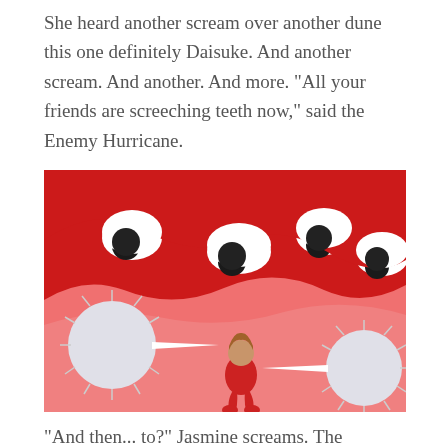She heard another scream over another dune this one definitely Daisuke. And another scream. And another. And more. "All your friends are screeching teeth now," said the Enemy Hurricane.
[Figure (illustration): Illustration with a red background showing a menacing red wave/creature at the top with multiple pairs of white eyes with black pupils. Below in a lighter pink/salmon area, a small crouching figure (child) in red with brown hair is surrounded by two white spiky hedgehog-like creatures with pointed snouts aimed at the figure.]
"And then... to?" Jasmine screams. The screeching